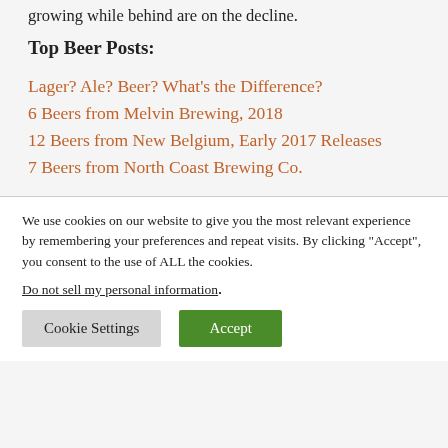growing while behind are on the decline.
Top Beer Posts:
Lager? Ale? Beer? What's the Difference?
6 Beers from Melvin Brewing, 2018
12 Beers from New Belgium, Early 2017 Releases
7 Beers from North Coast Brewing Co.
We use cookies on our website to give you the most relevant experience by remembering your preferences and repeat visits. By clicking “Accept”, you consent to the use of ALL the cookies.
Do not sell my personal information.
Cookie Settings
Accept